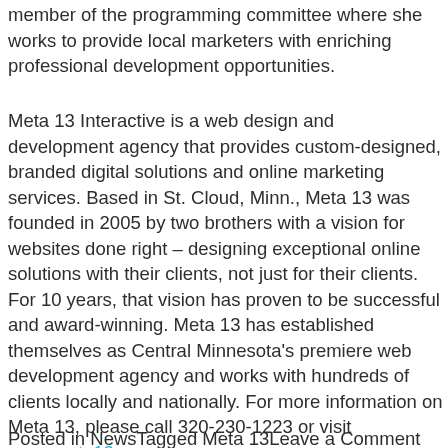member of the programming committee where she works to provide local marketers with enriching professional development opportunities.
Meta 13 Interactive is a web design and development agency that provides custom-designed, branded digital solutions and online marketing services. Based in St. Cloud, Minn., Meta 13 was founded in 2005 by two brothers with a vision for websites done right – designing exceptional online solutions with their clients, not just for their clients. For 10 years, that vision has proven to be successful and award-winning. Meta 13 has established themselves as Central Minnesota's premiere web development agency and works with hundreds of clients locally and nationally. For more information on Meta 13, please call 320-230-1223 or visit www.meta13.com.
Posted in NewsTagged Meta 13Leave a Comment on